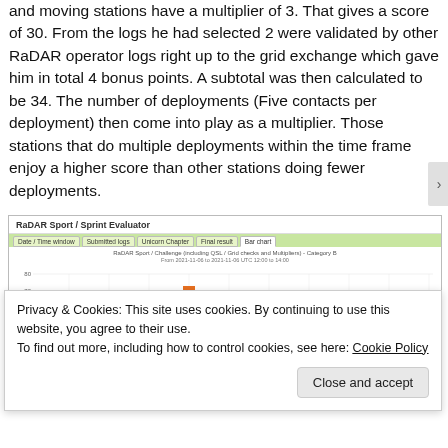and moving stations have a multiplier of 3. That gives a score of 30. From the logs he had selected 2 were validated by other RaDAR operator logs right up to the grid exchange which gave him in total 4 bonus points. A subtotal was then calculated to be 34. The number of deployments (Five contacts per deployment) then come into play as a multiplier. Those stations that do multiple deployments within the time frame enjoy a higher score than other stations doing fewer deployments.
[Figure (screenshot): RaDAR Sport / Sprint Evaluator web application screenshot showing a bar chart titled 'RaDAR Sport / Challenge (including QSL / Grid checks and Multipliers) - Category B From 2021-11-06 to 2021-11-06 UTC 12:00 to 14:00' with one visible orange bar near value 60 on the y-axis. Tabs visible: Date/Time window, Submitted logs, Unicorn Chapter, Final result, Bar chart (active).]
Privacy & Cookies: This site uses cookies. By continuing to use this website, you agree to their use.
To find out more, including how to control cookies, see here: Cookie Policy